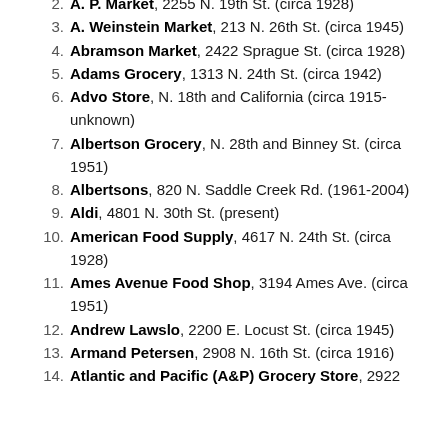A. P. Market, 2255 N. 19th St. (circa 1928)
A. Weinstein Market, 213 N. 26th St. (circa 1945)
Abramson Market, 2422 Sprague St. (circa 1928)
Adams Grocery, 1313 N. 24th St. (circa 1942)
Advo Store, N. 18th and California (circa 1915-unknown)
Albertson Grocery, N. 28th and Binney St. (circa 1951)
Albertsons, 820 N. Saddle Creek Rd. (1961-2004)
Aldi, 4801 N. 30th St. (present)
American Food Supply, 4617 N. 24th St. (circa 1928)
Ames Avenue Food Shop, 3194 Ames Ave. (circa 1951)
Andrew Lawslo, 2200 E. Locust St. (circa 1945)
Armand Petersen, 2908 N. 16th St. (circa 1916)
Atlantic and Pacific (A&P) Grocery Store, 2922